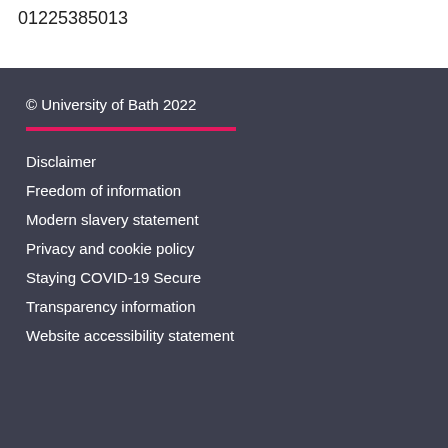01225385013
© University of Bath 2022
Disclaimer
Freedom of information
Modern slavery statement
Privacy and cookie policy
Staying COVID-19 Secure
Transparency information
Website accessibility statement